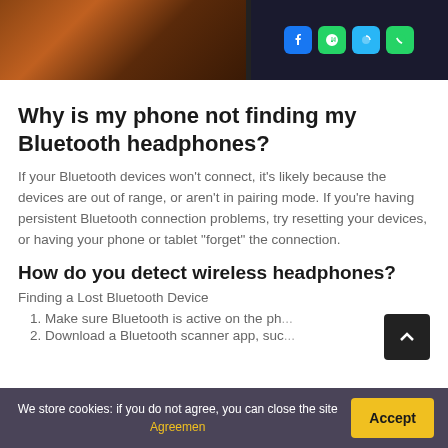[Figure (photo): Photo strip showing a hand holding a smartphone on the left and a phone screen with app icons (Facebook, Phone, Browser, WhatsApp) on the right against dark background]
Why is my phone not finding my Bluetooth headphones?
If your Bluetooth devices won't connect, it's likely because the devices are out of range, or aren't in pairing mode. If you're having persistent Bluetooth connection problems, try resetting your devices, or having your phone or tablet “forget” the connection.
How do you detect wireless headphones?
Finding a Lost Bluetooth Device
1. Make sure Bluetooth is active on the ph...
2. Download a Bluetooth scanner app, such...